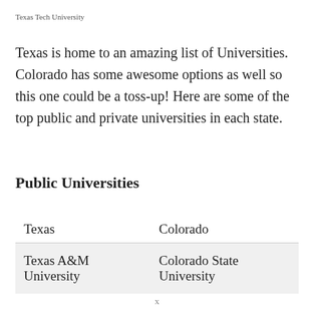Texas Tech University
Texas is home to an amazing list of Universities. Colorado has some awesome options as well so this one could be a toss-up! Here are some of the top public and private universities in each state.
Public Universities
| Texas | Colorado |
| --- | --- |
| Texas A&M University | Colorado State University |